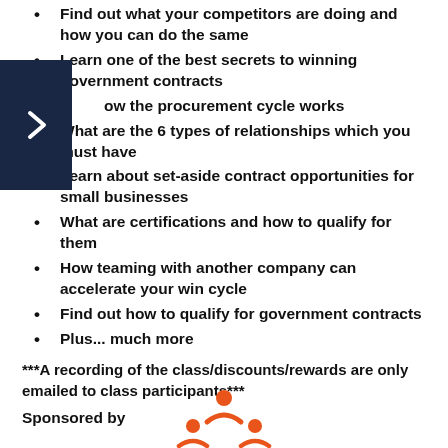Find out what your competitors are doing and how you can do the same
Learn one of the best secrets to winning government contracts
ow the procurement cycle works
What are the 6 types of relationships which you must have
Learn about set-aside contract opportunities for small businesses
What are certifications and how to qualify for them
How teaming with another company can accelerate your win cycle
Find out how to qualify for government contracts
Plus... much more
***A recording of the class/discounts/rewards are only emailed to class participants***
Sponsored by
[Figure (logo): Orange people/network logo at the bottom center of the page]